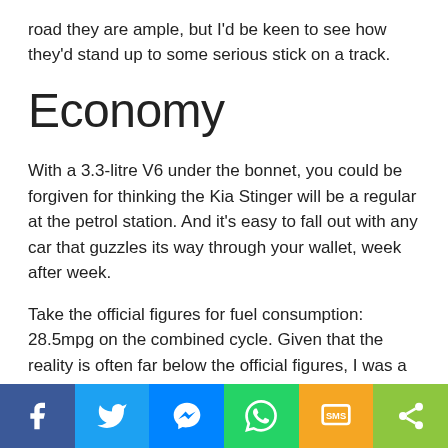road they are ample, but I'd be keen to see how they'd stand up to some serious stick on a track.
Economy
With a 3.3-litre V6 under the bonnet, you could be forgiven for thinking the Kia Stinger will be a regular at the petrol station. And it's easy to fall out with any car that guzzles its way through your wallet, week after week.
Take the official figures for fuel consumption: 28.5mpg on the combined cycle. Given that the reality is often far below the official figures, I was a little worried myself. Happily, it turned out I needn't be.
Social share bar: Facebook, Twitter, Messenger, WhatsApp, SMS, Share